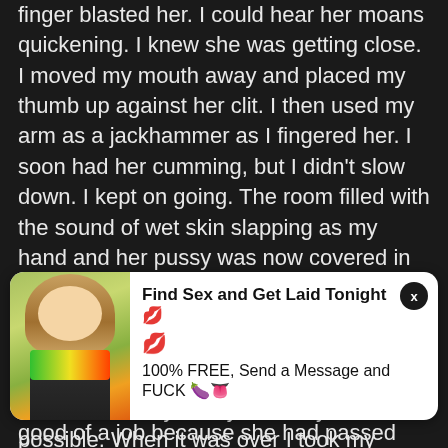finger blasted her. I could hear her moans quickening. I knew she was getting close. I moved my mouth away and placed my thumb up against her clit. I then used my arm as a jackhammer as I fingered her. I soon had her cumming, but I didn't slow down. I kept on going. The room filled with the sound of wet skin slapping as my hand and her pussy was now covered in her juices. I knew I was getting close and a minute later my wife screamed and began squirting like a fire hydrant. Victoria rarely ever squirted, but when she was drunk and really, really whorney it was possible. When it was over I took my hand away and stood up
[Figure (infographic): Advertisement overlay with photo of woman and text: Find Sex and Get Laid Tonight 💋 💋 100% FREE, Send a Message and FUCK 🍆👅]
good of a job because she had passed out on the bed.